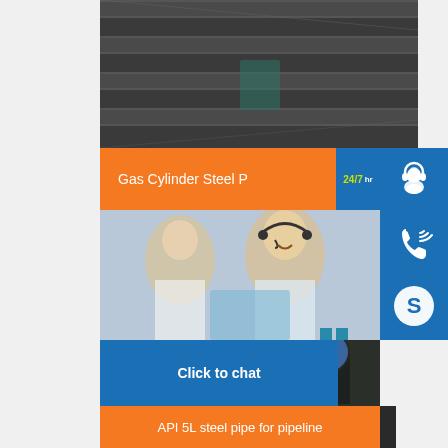[Figure (photo): Rows of dark steel pipes/tubes stored in a warehouse, viewed from the side showing multiple stacked rows]
Gas Cylinder Steel P
24/7 hour
[Figure (photo): Customer service representatives wearing headsets, smiling, working at computers]
[Figure (photo): Bundle of black steel pipes with blue end caps and yellow bands, API 5L pipeline pipes]
API 5L steel pipe for pipeline
Click to chat
[Figure (photo): Yellow/gold vertical steel tubes or pipes at the bottom of the page]